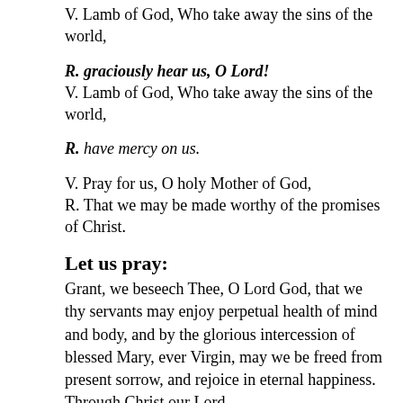V. Lamb of God, Who take away the sins of the world,
R. graciously hear us, O Lord!
V. Lamb of God, Who take away the sins of the world,
R. have mercy on us.
V. Pray for us, O holy Mother of God,
R. That we may be made worthy of the promises of Christ.
Let us pray:
Grant, we beseech Thee, O Lord God, that we thy servants may enjoy perpetual health of mind and body, and by the glorious intercession of blessed Mary, ever Virgin, may we be freed from present sorrow, and rejoice in eternal happiness.
Through Christ our Lord.
Amen.